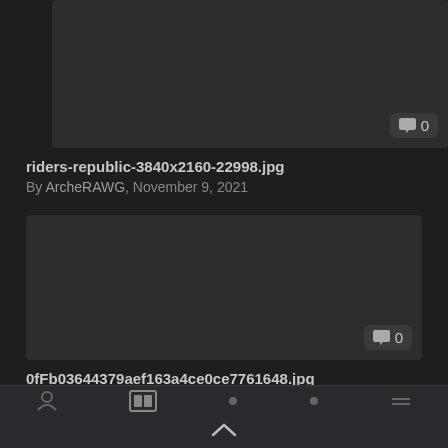[Figure (screenshot): Dark thumbnail image placeholder (cropped at top), with comment badge showing 0]
riders-republic-3840x2160-22998.jpg
By ArcheRAWG, November 9, 2021
[Figure (screenshot): Dark thumbnail image placeholder, with comment badge showing 0]
0fFb03644379aef163a4ce0ce7761648.jpg
Navigation bar with icons and chevron up indicator